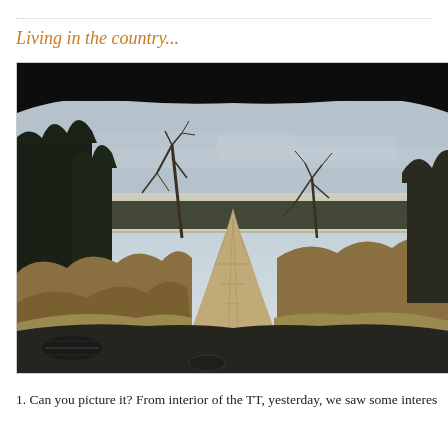Living in the country...
[Figure (photo): View from inside a car (Audi TT) through the windshield looking down a rural dirt/gravel road in winter. Bare trees on the left, evergreen trees further left, scrubby bushes and fields on both sides, snow-dusted hills in the background, overcast sky. The car dashboard and black interior frame the bottom and top of the image.]
1. Can you picture it? From interior of the TT, yesterday, we saw some interes